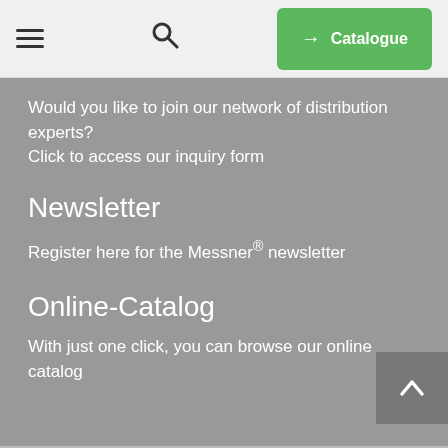≡  🔍  → Catalogue
Would you like to join our network of distribution experts?
Click to access our inquiry form
Newsletter
Register here for the Messner® newsletter
Online-Catalog
With just one click, you can browse our online catalog